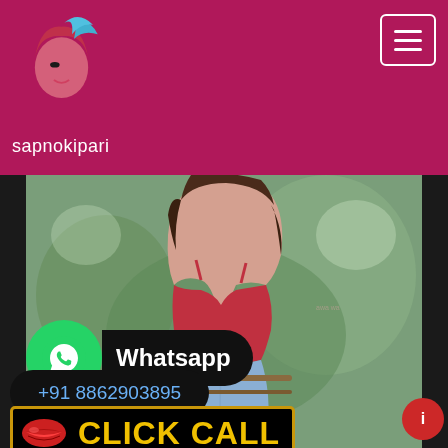sapnokipari
[Figure (photo): Photo of a woman seen from behind wearing a red lace crop top and jeans, leaning on a railing with a blurred green outdoor background]
Whatsapp
+91 8862903895
CLICK CALL